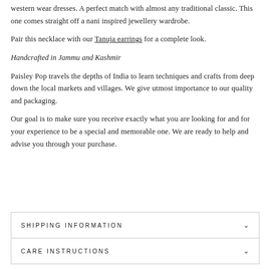western wear dresses. A perfect match with almost any traditional classic. This one comes straight off a nani inspired jewellery wardrobe.
Pair this necklace with our Tanuja earrings for a complete look.
Handcrafted in Jammu and Kashmir
Paisley Pop travels the depths of India to learn techniques and crafts from deep down the local markets and villages. We give utmost importance to our quality and packaging.
Our goal is to make sure you receive exactly what you are looking for and for your experience to be a special and memorable one. We are ready to help and advise you through your purchase.
SHIPPING INFORMATION
CARE INSTRUCTIONS